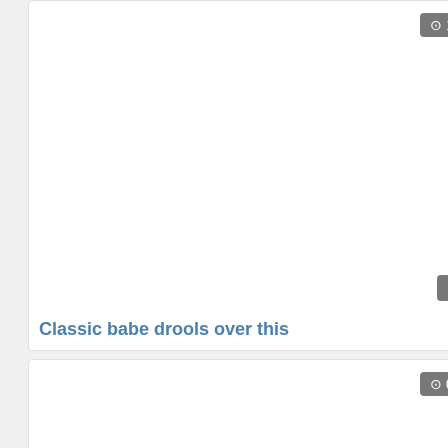[Figure (screenshot): Video thumbnail card 1 with time badge '10:15' and view count '13', label 'Gratis Porr', blank white thumbnail area]
Classic babe drools over this
[Figure (screenshot): Video thumbnail card 2 with time badge '08:02' and view count '15', label 'Gratis Porr', blank white thumbnail area]
Stunning babes eat pussy
[Figure (screenshot): Video thumbnail card 3 with time badge '10:15' and view count '16', partial view at bottom of page]